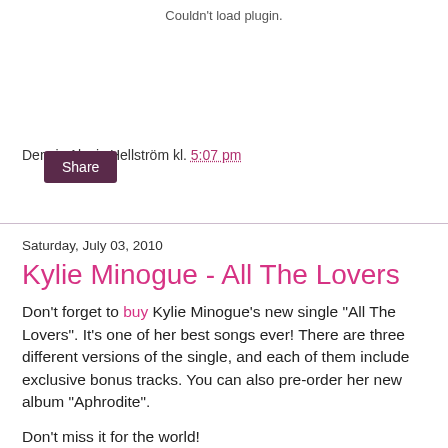Couldn't load plugin.
Dennis Alexis Hellström kl. 5:07 pm
Share
Saturday, July 03, 2010
Kylie Minogue - All The Lovers
Don't forget to buy Kylie Minogue's new single "All The Lovers". It's one of her best songs ever! There are three different versions of the single, and each of them include exclusive bonus tracks. You can also pre-order her new album "Aphrodite".
Don't miss it for the world!